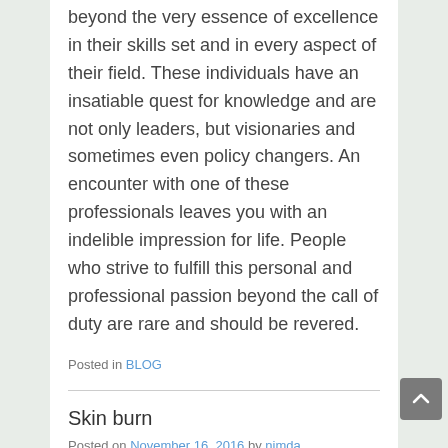beyond the very essence of excellence in their skills set and in every aspect of their field. These individuals have an insatiable quest for knowledge and are not only leaders, but visionaries and sometimes even policy changers. An encounter with one of these professionals leaves you with an indelible impression for life. People who strive to fulfill this personal and professional passion beyond the call of duty are rare and should be revered.
Posted in BLOG
Skin burn
Posted on November 16, 2016 by nimda